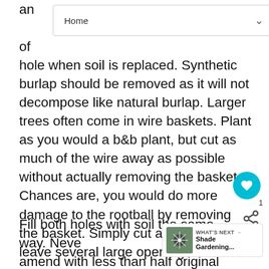an of hole when soil is replaced. Synthetic burlap should be removed as it will not decompose like natural burlap. Larger trees often come in wire baskets. Plant as you would a b&b plant, but cut as much of the wire away as possible without actually removing the basket. Chances are, you would do more damage to the rootball by removing the basket. Simply cut away wires to leave several large openings for roots.
Fill both holes with soil the same way. Never amend with less than half original soil. Recent studies show that if your soil is loose enough, you are better off adding little or no amendments.